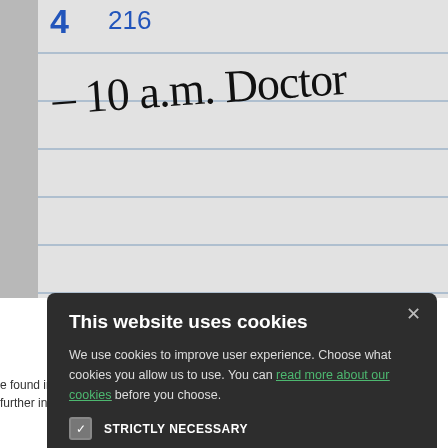[Figure (photo): Notebook page with handwriting showing '4', '216', and '- 10 a.m. Doctor' written on lined paper]
rs and nurses take pride in disease care and offer a w... and travel vaccination...
e found in the menu bar further information to the right which includes a wealth of health-related advic...
This website uses cookies

We use cookies to improve user experience. Choose what cookies you allow us to use. You can read more about our cookies before you choose.

STRICTLY NECESSARY
PERFORMANCE
TARGETING
FUNCTIONALITY

ACCEPT ALL  DECLINE ALL